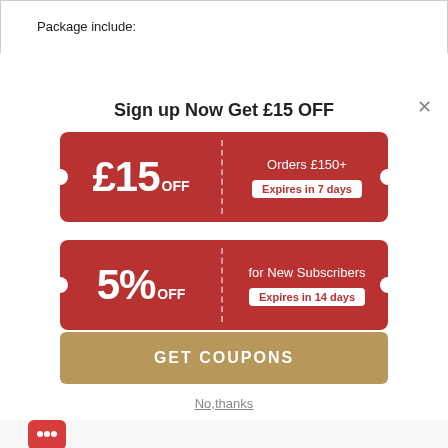Package include:
×
Sign up Now Get £15 OFF
[Figure (infographic): Red coupon tile showing £15 OFF for Orders £150+, Expires in 7 days]
[Figure (infographic): Red coupon tile showing 5% OFF for New Subscribers, Expires in 14 days]
GET COUPONS
No,thanks
[Figure (illustration): Chat bot icon (red square with smiley face) and partial product images at bottom]